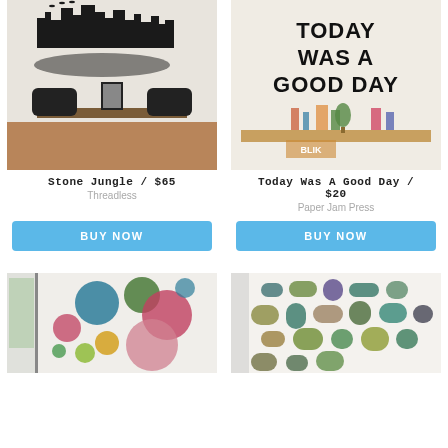[Figure (photo): Wall art showing a city skyline silhouette in black, mounted on a white wall above a bench with two black chairs. Stone Jungle wall decal by Threadless.]
[Figure (photo): Wall art showing bold black text reading 'TODAY WAS A GOOD DAY' on a white wall, with a wooden shelf below holding various items. By Paper Jam Press.]
Stone Jungle / $65
Threadless
Today Was A Good Day / $20
Paper Jam Press
BUY NOW
BUY NOW
[Figure (photo): Wall decal showing colorful circles in various sizes on a white wall — teal, green, pink, red, yellow dots. Colorful dots wall art.]
[Figure (photo): Wall decal showing colorful rounded rectangle shapes arranged in a cluster on a white wall — greens, teal, purple, tan, olive tones.]